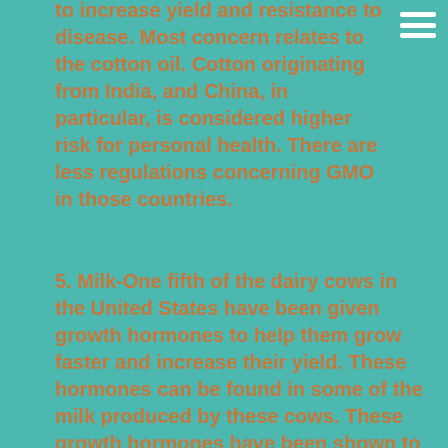to increase yield and resistance to disease. Most concern relates to the cotton oil. Cotton originating from India, and China, in particular, is considered higher risk for personal health.  There are less regulations concerning GMO in those countries.
5. Milk-One fifth of the dairy cows in the United States have been given growth hormones to help them grow faster and increase their yield. These hormones can be found in some of the milk produced by these cows. These growth hormones have been shown to act inside the human body.  We become larger more easily because the hormones made to make the cows bigger.
6. Sugar-Genetically modified sugar beets were introduced to the US market in 2009.  These sugar beets are modified to resist Roundup, like corn.
7. Zucchini-Genetically modified zucchini contains a